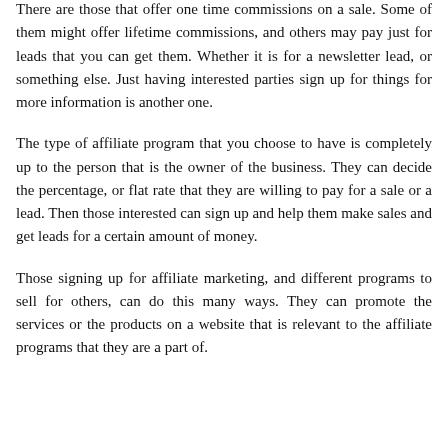There are those that offer one time commissions on a sale. Some of them might offer lifetime commissions, and others may pay just for leads that you can get them. Whether it is for a newsletter lead, or something else. Just having interested parties sign up for things for more information is another one.
The type of affiliate program that you choose to have is completely up to the person that is the owner of the business. They can decide the percentage, or flat rate that they are willing to pay for a sale or a lead. Then those interested can sign up and help them make sales and get leads for a certain amount of money.
Those signing up for affiliate marketing, and different programs to sell for others, can do this many ways. They can promote the services or the products on a website that is relevant to the affiliate programs that they are a part of.